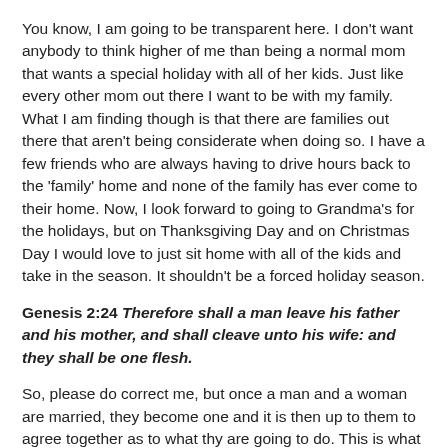You know, I am going to be transparent here. I don't want anybody to think higher of me than being a normal mom that wants a special holiday with all of her kids. Just like every other mom out there I want to be with my family. What I am finding though is that there are families out there that aren't being considerate when doing so. I have a few friends who are always having to drive hours back to the 'family' home and none of the family has ever come to their home. Now, I look forward to going to Grandma's for the holidays, but on Thanksgiving Day and on Christmas Day I would love to just sit home with all of the kids and take in the season. It shouldn't be a forced holiday season.
Genesis 2:24 Therefore shall a man leave his father and his mother, and shall cleave unto his wife: and they shall be one flesh.
So, please do correct me, but once a man and a woman are married, they become one and it is then up to them to agree together as to what thy are going to do. This is what me and my husband are doing. We have had a couple relatives invite us over and we may or may not do it, we aren't sure...